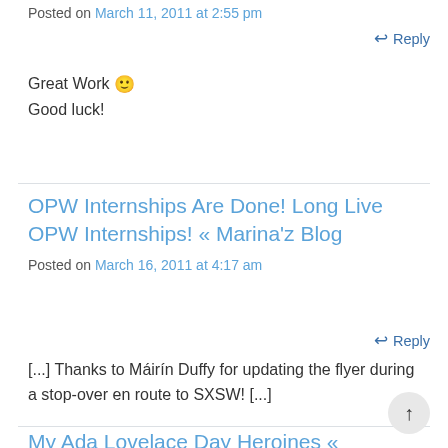Posted on March 11, 2011 at 2:55 pm
Reply
Great Work 🙂
Good luck!
OPW Internships Are Done! Long Live OPW Internships! « Marina'z Blog
Posted on March 16, 2011 at 4:17 am
Reply
[...] Thanks to Máirín Duffy for updating the flyer during a stop-over en route to SXSW! [...]
My Ada Lovelace Day Heroines « Mari… Blog